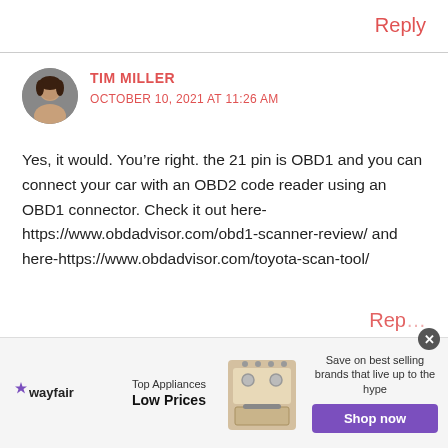Reply
[Figure (photo): Circular avatar photo of Tim Miller, a person with dark hair.]
TIM MILLER
OCTOBER 10, 2021 AT 11:26 AM
Yes, it would. You’re right. the 21 pin is OBD1 and you can connect your car with an OBD2 code reader using an OBD1 connector. Check it out here-https://www.obdadvisor.com/obd1-scanner-review/ and here-https://www.obdadvisor.com/toyota-scan-tool/
Rep…
[Figure (infographic): Wayfair advertisement banner: Top Appliances, Low Prices. Save on best selling brands that live up to the hype. Shop now button in purple.]